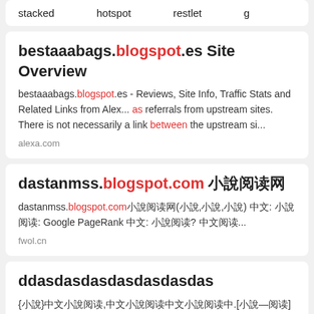stacked    hotspot    restlet    g
bestaaabags.blogspot.es Site Overview
bestaaabags.blogspot.es - Reviews, Site Info, Traffic Stats and Related Links from Alex... as referrals from upstream sites. There is not necessarily a link between the upstream si...
alexa.com
dastanmss.blogspot.com [CJK characters]
dastanmss.blogspot.com[CJK](CJK,CJK,CJK) CJK: CJK: Google PageRank CJK: CJK? CJK...
fwol.cn
ddasdasdasdasdasdasdas
{CJK}CJK,CJK.[CJK—CJK][CJK]CJK[CJK]CJK...